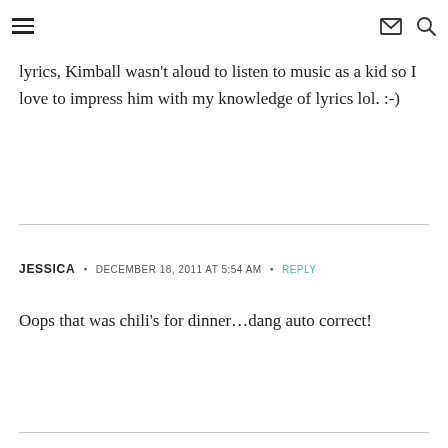≡ ✉ 🔍
lyrics, Kimball wasn't aloud to listen to music as a kid so I love to impress him with my knowledge of lyrics lol. :-)
JESSICA • DECEMBER 18, 2011 AT 5:54 AM • REPLY
Oops that was chili's for dinner…dang auto correct!